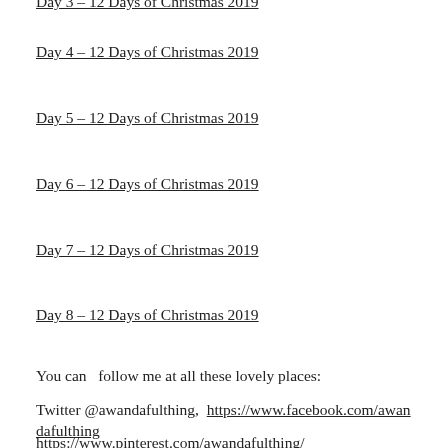Day 4 – 12 Days of Christmas 2019
Day 5 – 12 Days of Christmas 2019
Day 6 – 12 Days of Christmas 2019
Day 7 – 12 Days of Christmas 2019
Day 8 – 12 Days of Christmas 2019
You can  follow me at all these lovely places:
Twitter @awandafulthing,  https://www.facebook.com/awandafulthing
https://www.pinterest.com/awandafulthing/